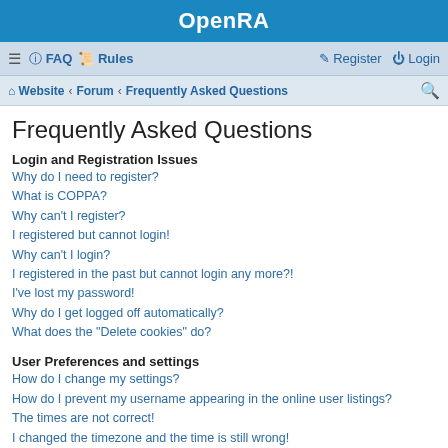OpenRA
☰ FAQ Rules | Register Login
Website · Forum · Frequently Asked Questions
Frequently Asked Questions
Login and Registration Issues
Why do I need to register?
What is COPPA?
Why can't I register?
I registered but cannot login!
Why can't I login?
I registered in the past but cannot login any more?!
I've lost my password!
Why do I get logged off automatically?
What does the "Delete cookies" do?
User Preferences and settings
How do I change my settings?
How do I prevent my username appearing in the online user listings?
The times are not correct!
I changed the timezone and the time is still wrong!
My language is not in the list!
What are the images next to my username?